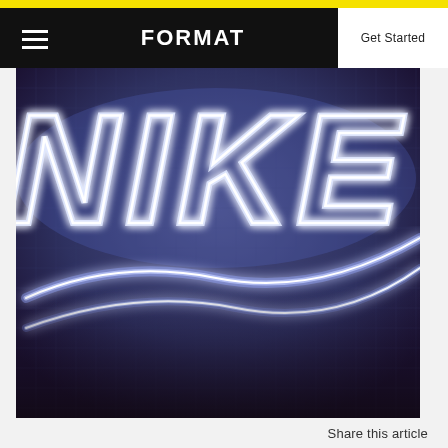FORMAT  Get Started
[Figure (photo): Nike neon sign glowing in blue/purple tones with the Nike swoosh logo and NIKE lettering in bright white neon light on a dark fabric/mesh background]
Share this article